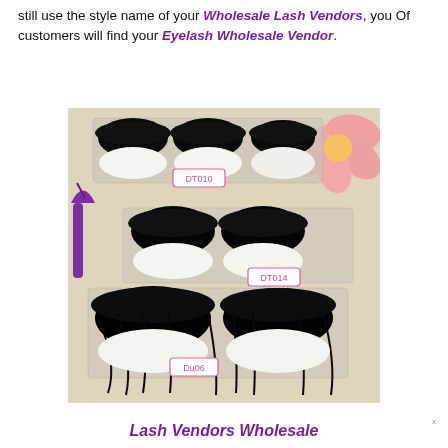still use the style name of your Wholesale Lash Vendors, you Of customers will find your Eyelash Wholesale Vendor.
[Figure (photo): Product photo showing three pairs of false eyelashes on clear trays labeled DT010, DT014, and Du06, with a pink flower and purple eyelash applicator tool visible in the background on a beige surface.]
Lash Vendors Wholesale